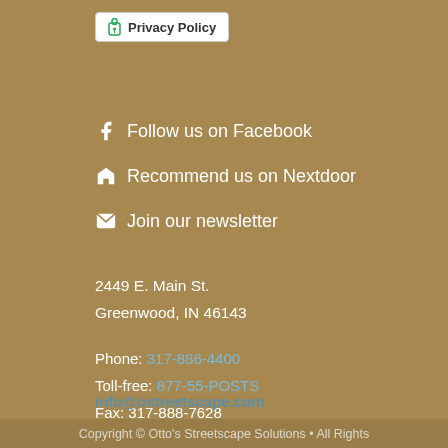Privacy Policy
Follow us on Facebook
Recommend us on Nextdoor
Join our newsletter
2449 E. Main St.
Greenwood, IN 46143
Phone: 317-886-4400
Toll-free: 877-55-POSTS
Fax: 317-888-7628
info@ostreetscape.com
Copyright © Otto's Streetscape Solutions • All Rights